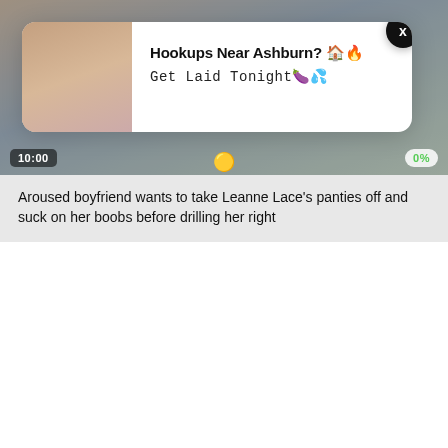[Figure (screenshot): Video thumbnail showing blurred adult content with time badge '10:00' and percent badge '0%']
[Figure (screenshot): Ad popup overlay with adult image on left and text 'Hookups Near Ashburn? Get Laid Tonight' on right, with X close button]
Aroused boyfriend wants to take Leanne Lace's panties off and suck on her boobs before drilling her right